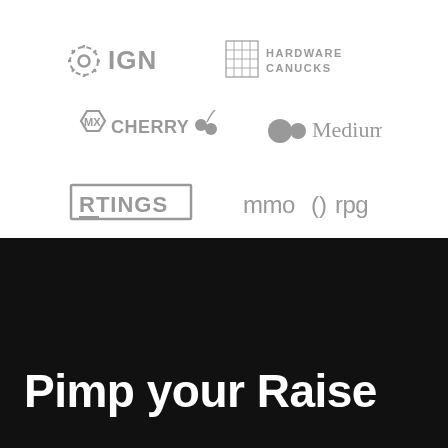[Figure (logo): IGN logo — gear/compass icon followed by IGN text, gray]
[Figure (logo): Hardware Canucks logo — HC monogram with grid lines and Hardware Canucks text, gray]
[Figure (logo): MX Cherry logo — hexagon MX icon and cherry icon with CHERRY text, gray]
[Figure (logo): Medium logo — two overlapping circles and Medium text, gray]
[Figure (logo): RTINGS logo — bold uppercase RTINGS in outlined box style, gray]
[Figure (logo): MMORPG logo — mmo()rpg stylized text, gray]
Pimp your Raise